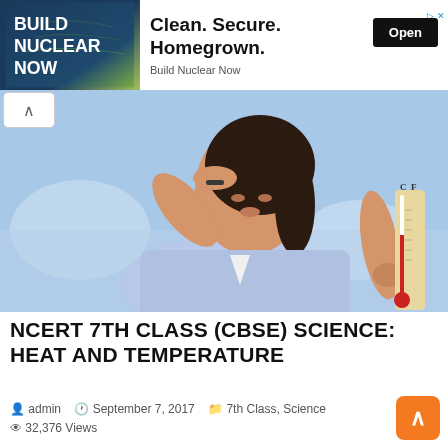[Figure (other): Advertisement banner for Build Nuclear Now with teal/olive background on left side showing 'BUILD NUCLEAR NOW' text, and right side showing 'Clean. Secure. Homegrown.' headline with 'Open' button and 'Build Nuclear Now' subtext]
[Figure (photo): Woman in light blue shirt holding a C/F thermometer, shielding her eyes from the sun, against a blurred outdoor background]
NCERT 7TH CLASS (CBSE) SCIENCE: HEAT AND TEMPERATURE
admin   September 7, 2017   7th Class, Science   32,376 Views